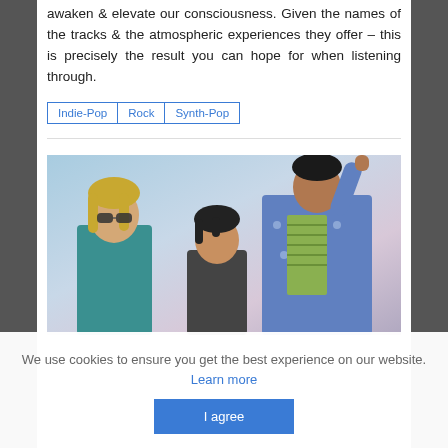awaken & elevate our consciousness. Given the names of the tracks & the atmospheric experiences they offer – this is precisely the result you can hope for when listening through.
Indie-Pop
Rock
Synth-Pop
[Figure (photo): Three people posing together against a light blue/purple background. A person with blonde hair and sunglasses wearing a teal top is on the left, a person with dark hair in the center-bottom, and a person in a blue patterned top with their arm raised on the right.]
We use cookies to ensure you get the best experience on our website. Learn more
I agree